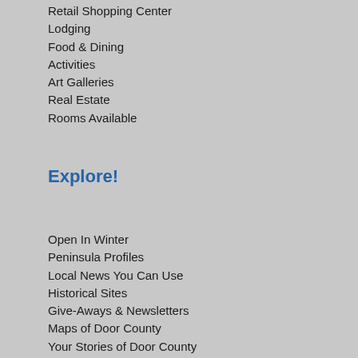Retail Shopping Center
Lodging
Food & Dining
Activities
Art Galleries
Real Estate
Rooms Available
Explore!
Open In Winter
Peninsula Profiles
Local News You Can Use
Historical Sites
Give-Aways & Newsletters
Maps of Door County
Your Stories of Door County
Online Jigsaw & Crossword Puzzles
Live Webcams
A Peek Inside the Door
Places of Worship